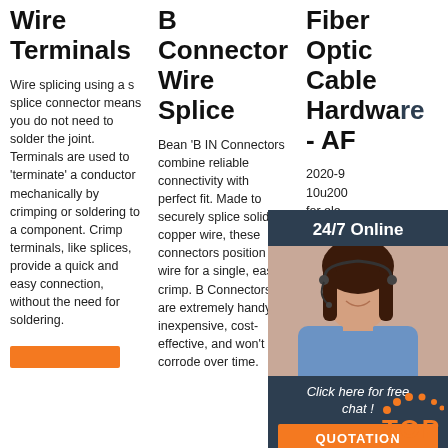Wire Terminals
Wire splicing using a s splice connector means you do not need to solder the joint. Terminals are used to 'terminate' a conductor mechanically by crimping or soldering to a component. Crimp terminals, like splices, provide a quick and easy connection, without the need for soldering.
B Connector Wire Splice
Bean 'B IN Connectors combine reliable connectivity with perfect fit. Made to securely splice solid copper wire, these connectors position wire for a single, easy crimp. B Connectors are extremely handy, inexpensive, cost-effective, and won't corrode over time.
Fiber Optic Cable Hardware - AF
2020-9 10u200 for ele and op installe splice versatil effectiv and ex installations . Features • Up to 144-fiber splice capacity, depending on cable design • Customizable kit
[Figure (photo): Chat widget with woman wearing headset, 24/7 Online header, Click here for free chat text, and QUOTATION button]
[Figure (logo): TOP badge with orange dots arc above]